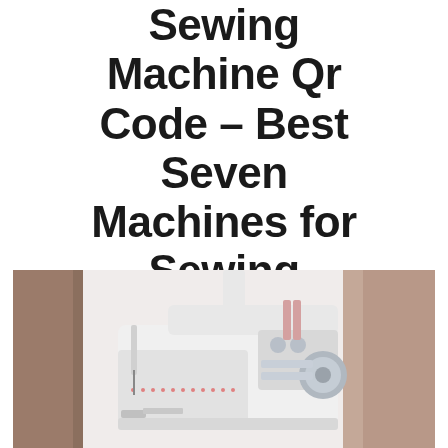Sewing Machine Qr Code – Best Seven Machines for Sewing Reviewed
[Figure (photo): A white sewing machine photographed on a light background with wooden/curtain elements visible. The machine has gray control knobs and pink decorative stitching details on its body.]